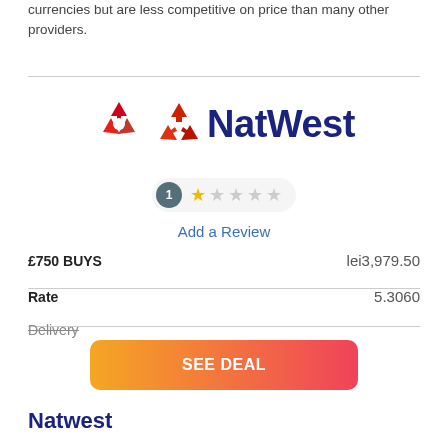currencies but are less competitive on price than many other providers.
[Figure (logo): NatWest bank logo with red geometric arrow/chevron icon and dark navy NatWest wordmark]
1 star rating (1 review)
Add a Review
£750 BUYS    lei3,979.50
Rate    5.3060
Delivery
SEE DEAL
Natwest